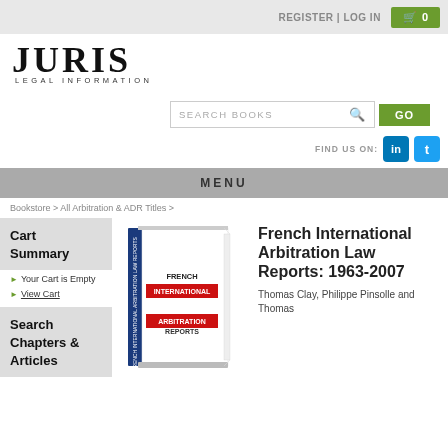REGISTER | LOG IN   🛒 0
[Figure (logo): Juris Legal Information logo — large serif JURIS with LEGAL INFORMATION in small caps below]
[Figure (screenshot): Search bar with placeholder SEARCH BOOKS, magnifying glass icon, and green GO button]
FIND US ON:  in  t
MENU
Bookstore > All Arbitration & ADR Titles >
Cart Summary
Your Cart is Empty
View Cart
Search Chapters & Articles
[Figure (illustration): Book cover of French International Arbitration Law Reports showing blue spine and white cover with red banner text]
French International Arbitration Law Reports: 1963-2007
Thomas Clay, Philippe Pinsolle and Thomas